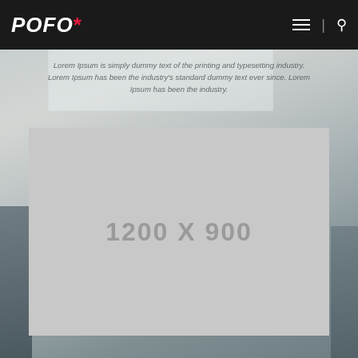POFO*
Lorem Ipsum is simply dummy text of the printing and typesetting industry. Lorem Ipsum has been the industry's standard dummy text ever since. Lorem Ipsum has been the industry.
[Figure (photo): Placeholder image box showing '1200 X 900' over a background office photo with people wearing Santa hats]